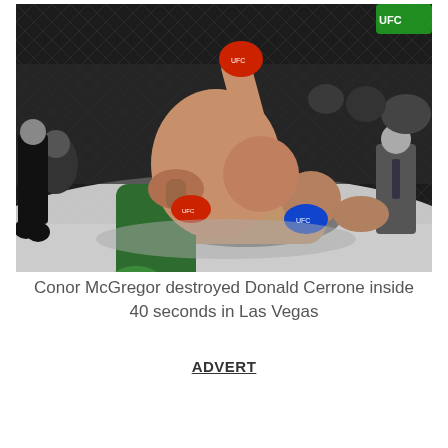[Figure (photo): Action photo of a UFC fight: Conor McGregor on top delivering punches to Donald Cerrone on the ground inside the octagon cage, with audience and referee visible in the background.]
Conor McGregor destroyed Donald Cerrone inside 40 seconds in Las Vegas
ADVERT